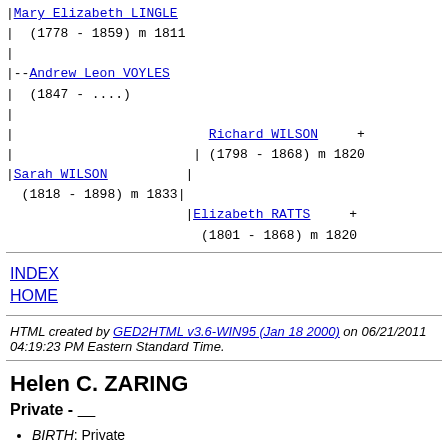| Mary Elizabeth LINGLE (1778 - 1859) m 1811
|--Andrew Leon VOYLES
|  (1847 - ....)
|                          Richard WILSON +
|                        | (1798 - 1868) m 1820
| Sarah WILSON           |
  (1818 - 1898) m 1833|
                        | Elizabeth RATTS +
                          (1801 - 1868) m 1820
INDEX
HOME
HTML created by GED2HTML v3.6-WIN95 (Jan 18 2000) on 06/21/2011 04:19:23 PM Eastern Standard Time.
Helen C. ZARING
Private - ____
BIRTH: Private